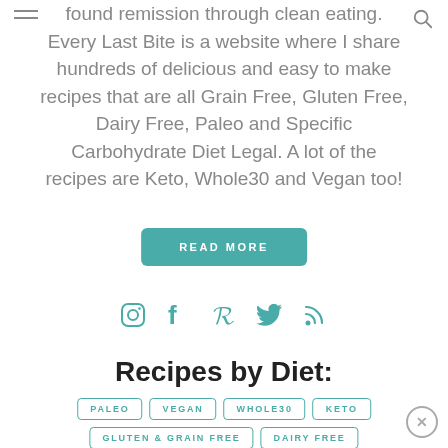hamburger menu icon and search icon
found remission through clean eating. Every Last Bite is a website where I share hundreds of delicious and easy to make recipes that are all Grain Free, Gluten Free, Dairy Free, Paleo and Specific Carbohydrate Diet Legal. A lot of the recipes are Keto, Whole30 and Vegan too!
READ MORE
[Figure (infographic): Social media icons: Instagram, Facebook, Pinterest, Twitter, RSS feed — all in teal color]
Recipes by Diet:
PALEO
VEGAN
WHOLE30
KETO
GLUTEN & GRAIN FREE
DAIRY FREE